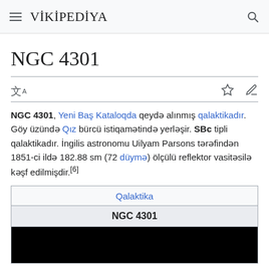VİKİPEDİYA
NGC 4301
NGC 4301, Yeni Baş Kataloqda qeydə alınmış qalaktikadır. Göy üzündə Qız bürcü istiqamətində yerləşir. SBc tipli qalaktikadır. İngilis astronomu Uilyam Parsons tərəfindən 1851-ci ildə 182.88 sm (72 düymə) ölçülü reflektor vasitəsilə kəşf edilmişdir.[6]
| Qalaktika |
| NGC 4301 |
| [image] |